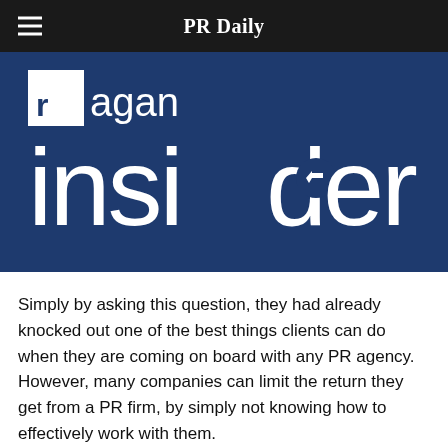PR Daily
[Figure (logo): Ragan Insider logo: white square with 'r' followed by 'agan' in white text on dark blue background, with large white 'insider' text below including an arrow in the 'd' character]
Simply by asking this question, they had already knocked out one of the best things clients can do when they are coming on board with any PR agency. However, many companies can limit the return they get from a PR firm, by simply not knowing how to effectively work with them.